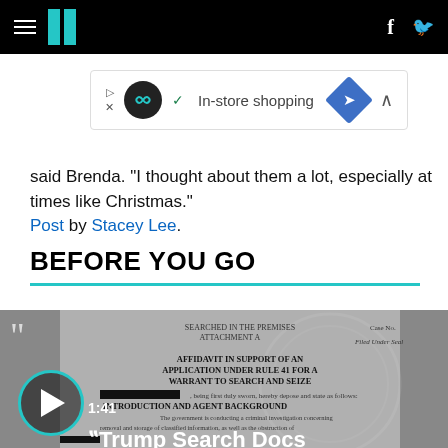HuffPost navigation bar with hamburger menu, logo, Facebook and Twitter icons
[Figure (screenshot): Advertisement banner showing logo with infinity symbol, checkmark, 'In-store shopping' text, blue diamond navigation icon, and chevron up]
said Brenda. "I thought about them a lot, especially at times like Christmas."
Post by Stacey Lee.
BEFORE YOU GO
[Figure (screenshot): Video thumbnail showing FBI search warrant affidavit document with play button, timestamp 1:41, and title 'Trump Search Docs' overlaid]